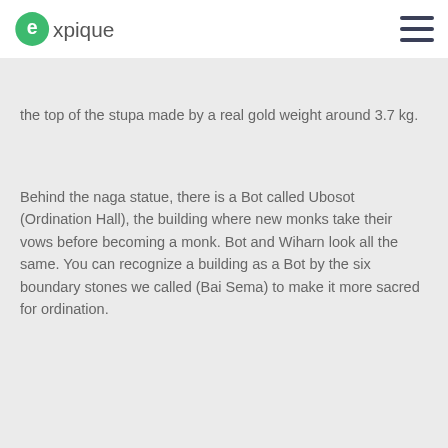expique
the top of the stupa made by a real gold weight around 3.7 kg.
Behind the naga statue, there is a Bot called Ubosot (Ordination Hall), the building where new monks take their vows before becoming a monk. Bot and Wiharn look all the same. You can recognize a building as a Bot by the six boundary stones we called (Bai Sema) to make it more sacred for ordination.